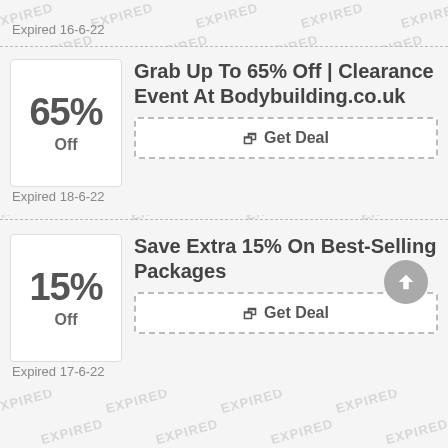Expired 16-6-22
Grab Up To 65% Off | Clearance Event At Bodybuilding.co.uk
65% Off
Get Deal
Expired 18-6-22
Save Extra 15% On Best-Selling Packages
15% Off
Get Deal
Expired 17-6-22